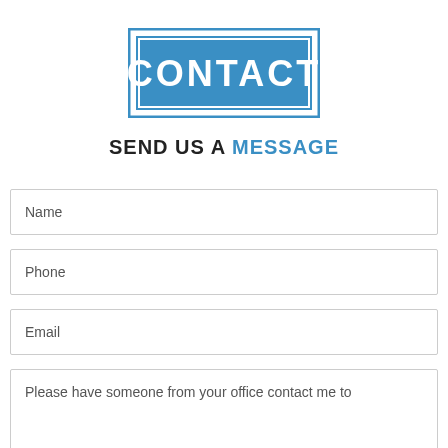[Figure (logo): Blue rectangle logo with white bold text 'CONTACT' on a steel blue background, with a double-border frame effect]
SEND US A MESSAGE
Name
Phone
Email
Please have someone from your office contact me to